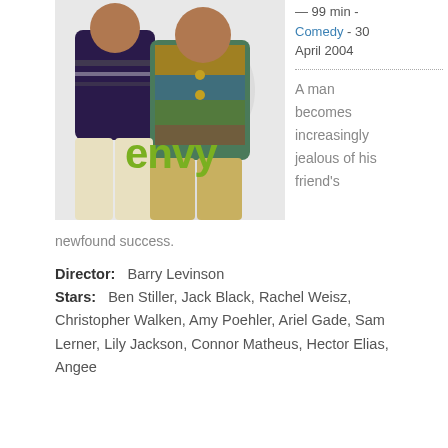[Figure (photo): Movie poster for Envy (2004) showing two men posing together with the green text 'envy' overlaid on the image]
— 99 min - Comedy - 30 April 2004
A man becomes increasingly jealous of his friend's newfound success.
Director:   Barry Levinson
Stars:   Ben Stiller, Jack Black, Rachel Weisz, Christopher Walken, Amy Poehler, Ariel Gade, Sam Lerner, Lily Jackson, Connor Matheus, Hector Elias, Angee